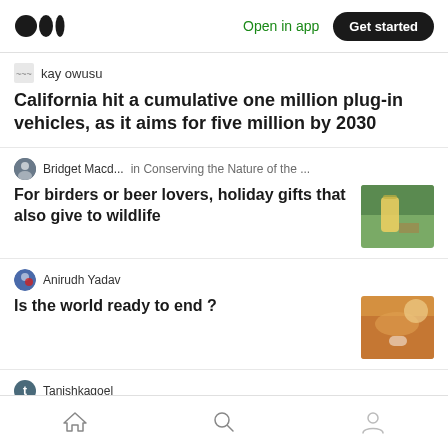Medium app header with logo, Open in app, Get started button
kay owusu
California hit a cumulative one million plug-in vehicles, as it aims for five million by 2030
Bridget Macd... in Conserving the Nature of the ...
For birders or beer lovers, holiday gifts that also give to wildlife
Anirudh Yadav
Is the world ready to end ?
Tanishkagoel
The impact of lockdown on the
Home, Search, Profile navigation icons